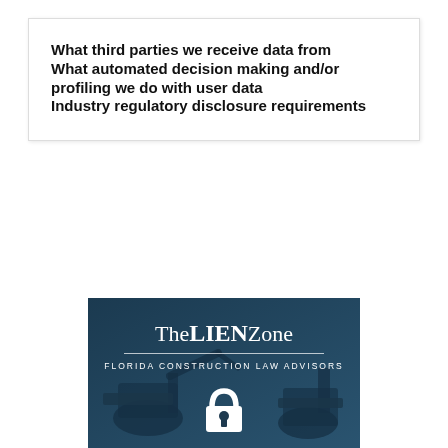What third parties we receive data from
What automated decision making and/or profiling we do with user data
Industry regulatory disclosure requirements
[Figure (logo): TheLienZone logo — Florida Construction Law Advisors, dark teal background with padlock icon and construction equipment imagery]